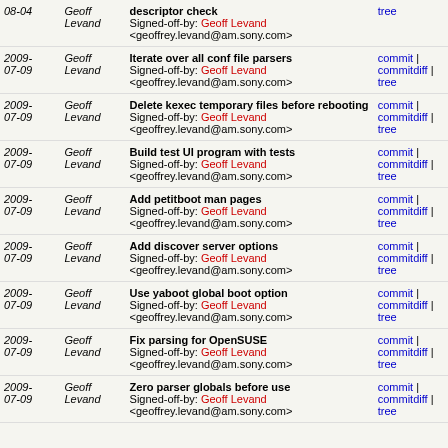| Date | Author | Message | Links |
| --- | --- | --- | --- |
| 08-04 | Geoff Levand | descriptor check
Signed-off-by: Geoff Levand <geoffrey.levand@am.sony.com> | tree |
| 2009-07-09 | Geoff Levand | Iterate over all conf file parsers
Signed-off-by: Geoff Levand <geoffrey.levand@am.sony.com> | commit | commitdiff | tree |
| 2009-07-09 | Geoff Levand | Delete kexec temporary files before rebooting
Signed-off-by: Geoff Levand <geoffrey.levand@am.sony.com> | commit | commitdiff | tree |
| 2009-07-09 | Geoff Levand | Build test UI program with tests
Signed-off-by: Geoff Levand <geoffrey.levand@am.sony.com> | commit | commitdiff | tree |
| 2009-07-09 | Geoff Levand | Add petitboot man pages
Signed-off-by: Geoff Levand <geoffrey.levand@am.sony.com> | commit | commitdiff | tree |
| 2009-07-09 | Geoff Levand | Add discover server options
Signed-off-by: Geoff Levand <geoffrey.levand@am.sony.com> | commit | commitdiff | tree |
| 2009-07-09 | Geoff Levand | Use yaboot global boot option
Signed-off-by: Geoff Levand <geoffrey.levand@am.sony.com> | commit | commitdiff | tree |
| 2009-07-09 | Geoff Levand | Fix parsing for OpenSUSE
Signed-off-by: Geoff Levand <geoffrey.levand@am.sony.com> | commit | commitdiff | tree |
| 2009-07-09 | Geoff Levand | Zero parser globals before use
Signed-off-by: Geoff Levand <geoffrey.levand@am.sony.com> | commit | commitdiff | tree |